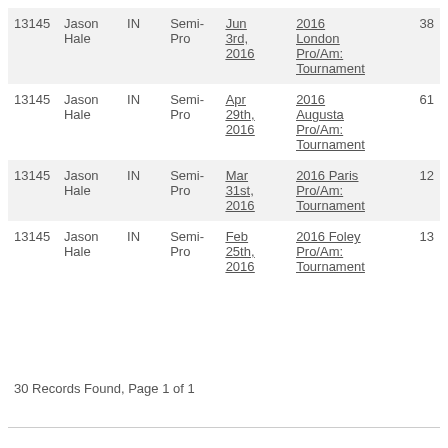| 13145 | Jason Hale | IN | Semi-Pro | Jun 3rd, 2016 | 2016 London Pro/Am: Tournament | 38 |
| 13145 | Jason Hale | IN | Semi-Pro | Apr 29th, 2016 | 2016 Augusta Pro/Am: Tournament | 61 |
| 13145 | Jason Hale | IN | Semi-Pro | Mar 31st, 2016 | 2016 Paris Pro/Am: Tournament | 12 |
| 13145 | Jason Hale | IN | Semi-Pro | Feb 25th, 2016 | 2016 Foley Pro/Am: Tournament | 13 |
30 Records Found, Page 1 of 1